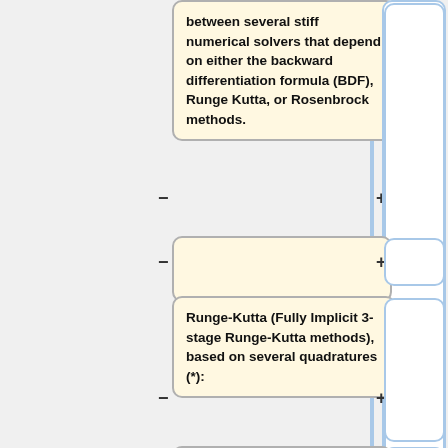between several stiff numerical solvers that depend on either the backward differentiation formula (BDF), Runge Kutta, or Rosenbrock methods.
Runge-Kutta (Fully Implicit 3-stage Runge-Kutta methods), based on several quadratures (*):